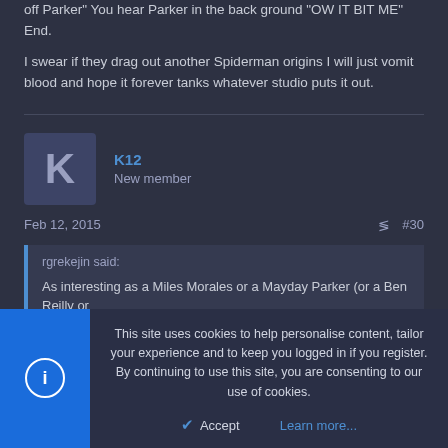off Parker" You hear Parker in the back ground "OW IT BIT ME" End.
I swear if they drag out another Spiderman origins I will just vomit blood and hope it forever tanks whatever studio puts it out.
K12
New member
Feb 12, 2015
#30
rgrekejin said:
As interesting as a Miles Morales or a Mayday Parker (or a Ben Reilly or
This site uses cookies to help personalise content, tailor your experience and to keep you logged in if you register.
By continuing to use this site, you are consenting to our use of cookies.
Accept
Learn more...